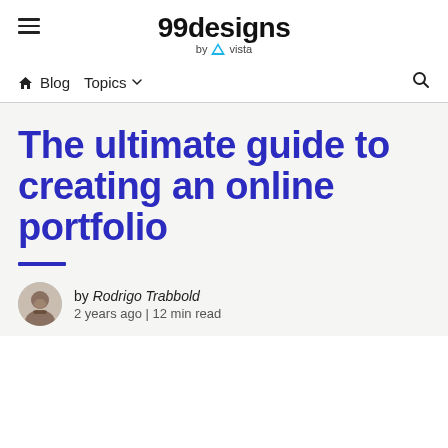99designs by vista
Blog  Topics
The ultimate guide to creating an online portfolio
by Rodrigo Trabbold
2 years ago | 12 min read